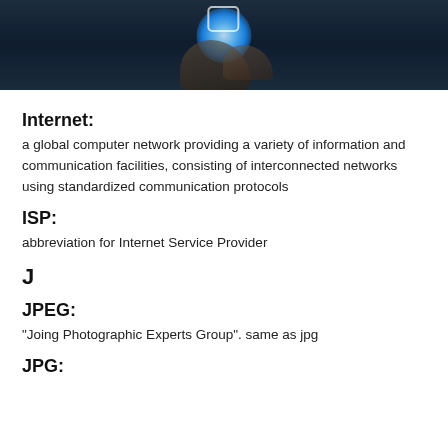[Figure (photo): Dark background photo showing a glowing light held in a hand, with a camera/internet icon floating above, representing digital connectivity]
Internet:
a global computer network providing a variety of information and communication facilities, consisting of interconnected networks using standardized communication protocols
ISP:
abbreviation for Internet Service Provider
J
JPEG:
"Joing Photographic Experts Group". same as jpg
JPG: